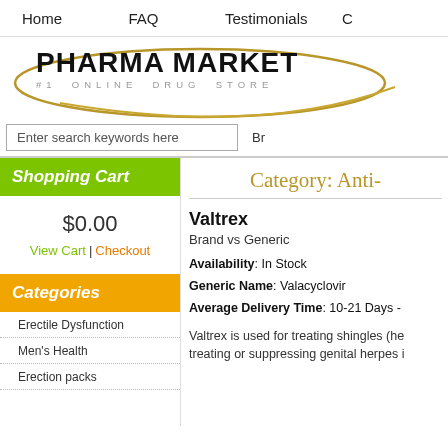Home  FAQ  Testimonials  C
[Figure (logo): Pharma Market #1 Online Drug Store logo with gold ellipse]
Enter search keywords here   Br
Shopping Cart
$0.00
View Cart | Checkout
Categories
Erectile Dysfunction
Men's Health
Erection packs
Category: Anti-
Valtrex
Brand vs Generic
Availability: In Stock
Generic Name: Valacyclovir
Average Delivery Time: 10-21 Days -
Valtrex is used for treating shingles (he treating or suppressing genital herpes i